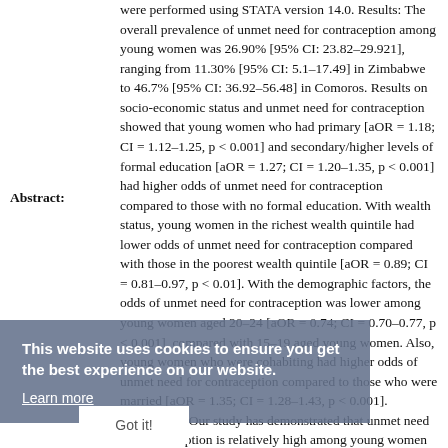were performed using STATA version 14.0. Results: The overall prevalence of unmet need for contraception among young women was 26.90% [95% CI: 23.82–29.921], ranging from 11.30% [95% CI: 5.1–17.49] in Zimbabwe to 46.7% [95% CI: 36.92–56.48] in Comoros. Results on socio-economic status and unmet need for contraception showed that young women who had primary [aOR = 1.18; CI = 1.12–1.25, p < 0.001] and secondary/higher levels of formal education [aOR = 1.27; CI = 1.20–1.35, p < 0.001] had higher odds of unmet need for contraception compared to those with no formal education. With wealth status, young women in the richest wealth quintile had lower odds of unmet need for contraception compared with those in the poorest wealth quintile [aOR = 0.89; CI = 0.81–0.97, p < 0.01]. With the demographic factors, the odds of unmet need for contraception was lower among young women aged 20–24 [aOR = 0.74; CI = 0.70–0.77, p < 0.001], compared with 15–19 aged young women. Also, young women who were cohabiting had higher odds of unmet need for contraception compared to those who were married [aOR = 1.35; CI = 1.28–1.43, p < 0.001]. Conclusion: Our study has demonstrated that unmet need for contraception is relatively high among young women in SSA and this
Abstract: